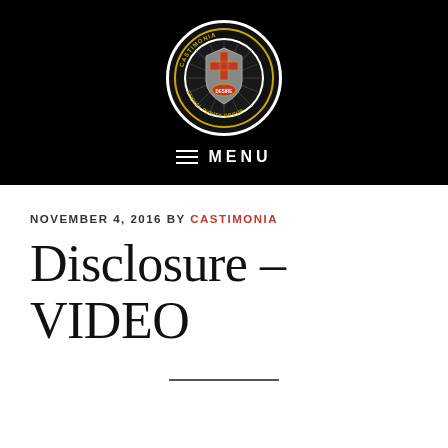[Figure (logo): Castimonia Sexual Purity Group circular logo with cross and knight imagery on black background]
≡  MENU
NOVEMBER 4, 2016 BY CASTIMONIA
Disclosure – VIDEO